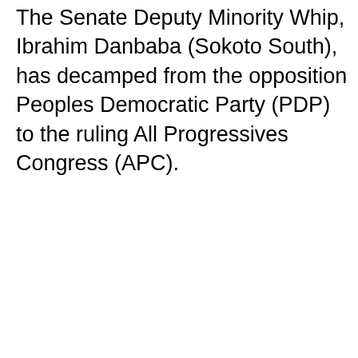The Senate Deputy Minority Whip, Ibrahim Danbaba (Sokoto South), has decamped from the opposition Peoples Democratic Party (PDP) to the ruling All Progressives Congress (APC).